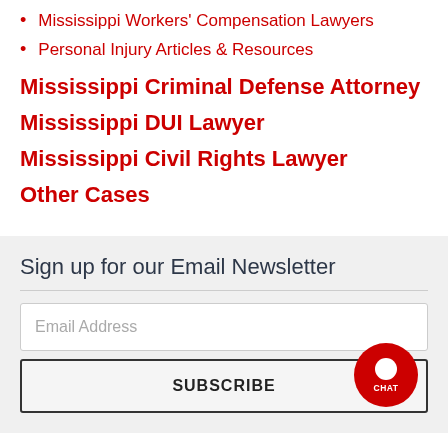Mississippi Workers' Compensation Lawyers
Personal Injury Articles & Resources
Mississippi Criminal Defense Attorney
Mississippi DUI Lawyer
Mississippi Civil Rights Lawyer
Other Cases
Sign up for our Email Newsletter
Email Address
SUBSCRIBE